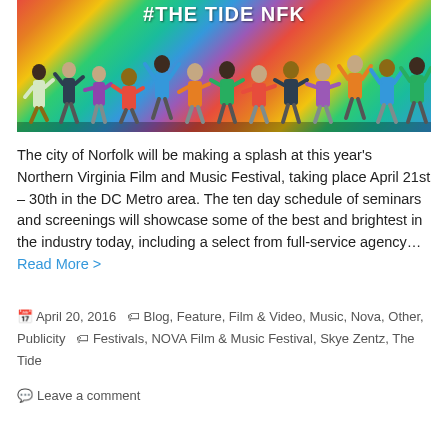[Figure (photo): Group photo of people jumping and posing in front of a colorful mural with '#THE TIDE NFK' text. People of various ages are spread across the image against a rainbow-striped background mural.]
The city of Norfolk will be making a splash at this year's Northern Virginia Film and Music Festival, taking place April 21st – 30th in the DC Metro area. The ten day schedule of seminars and screenings will showcase some of the best and brightest in the industry today, including a select from full-service agency… Read More >
April 20, 2016   Blog, Feature, Film & Video, Music, Nova, Other, Publicity   Festivals, NOVA Film & Music Festival, Skye Zentz, The Tide
Leave a comment